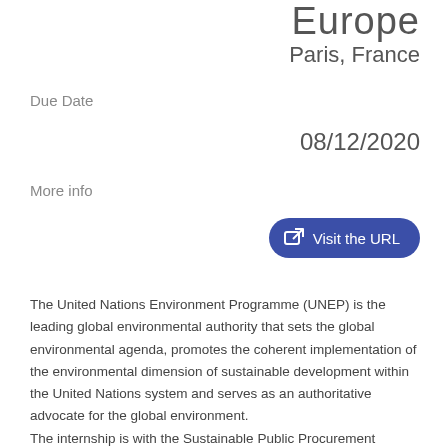Europe
Paris, France
Due Date
08/12/2020
More info
[Figure (other): Blue rounded button with external link icon and text 'Visit the URL']
The United Nations Environment Programme (UNEP) is the leading global environmental authority that sets the global environmental agenda, promotes the coherent implementation of the environmental dimension of sustainable development within the United Nations system and serves as an authoritative advocate for the global environment.
The internship is with the Sustainable Public Procurement